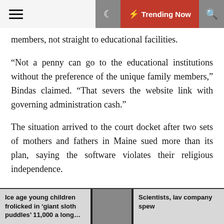☰ 🌙 ⚡ Trending Now 🔍
members, not straight to educational facilities.
“Not a penny can go to the educational institutions without the preference of the unique family members,” Bindas claimed. “That severs the website link with governing administration cash.”
The situation arrived to the court docket after two sets of mothers and fathers in Maine sued more than its plan, saying the software violates their religious independence.
David and Amy Carson sent their daughter to Bangor Christian Faculty and were hence not ready to acquire the condition tuition cash.
“I like to look at it as a continuation of the values and the
Ice age young children frolicked in ‘giant sloth puddles’ 11,000 a long... | Scientists, lav company spew